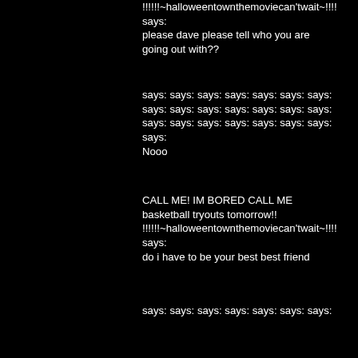!!!!!!~halloweentownthemoviecan'twait~!!!! says:
please dave please tell who you are going out with??
says: says: says: says: says: says: says: says: says: says: says: says: says: says: says: says: says: says: says: says: says: says:
Nooo
CALL ME! IM BORED CALL ME
basketball tryouts tomorrow!!
!!!!!!~halloweentownthemoviecan'twait~!!!! says:
do i have to be your best best friend
says: says: says: says: says: says: says: says: says: says: says: says: says: says: says: says: says: says: says: says: says: says:
omg.. nooo
CALL ME! IM BORED CALL ME
basketball tryouts tomorrow!!
!!!!!!~halloweentownthemoviecan'twait~!!!! says:
so you just wont ever tell me?? ever??
says: says: says: says: says: says: says: